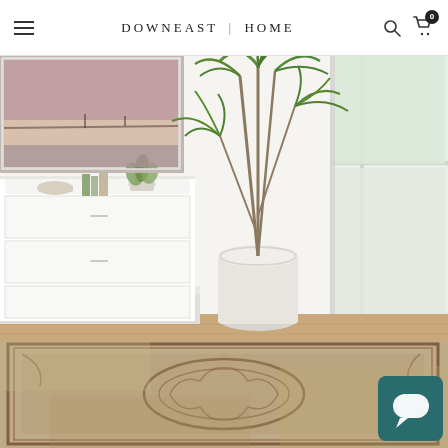DOWNEAST | HOME — navigation header with hamburger menu, logo, search and cart icons
[Figure (photo): Interior room scene with a white dresser, framed art print showing a seascape sunset, a tall green dracaena palm plant in a white cylindrical pot near a bright window, and a vintage-style distressed area rug with medallion pattern in brown/tan tones covering the floor]